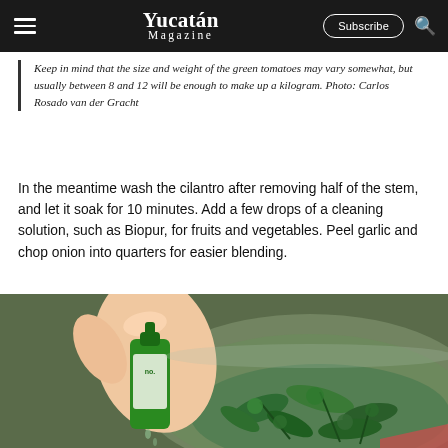Yucatán Magazine | Subscribe
Keep in mind that the size and weight of the green tomatoes may vary somewhat, but usually between 8 and 12 will be enough to make up a kilogram. Photo: Carlos Rosado van der Gracht
In the meantime wash the cilantro after removing half of the stem, and let it soak for 10 minutes. Add a few drops of a cleaning solution, such as Biopur, for fruits and vegetables. Peel garlic and chop onion into quarters for easier blending.
[Figure (photo): A hand squeezing drops from a green Biopur cleaning solution bottle into a glass bowl filled with fresh cilantro and water.]